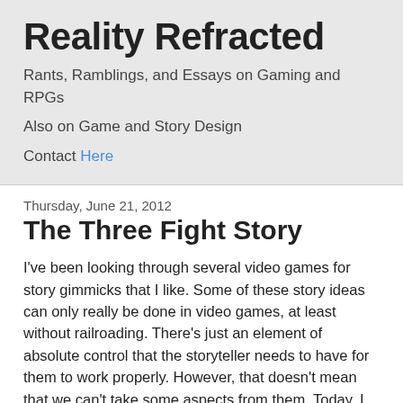Reality Refracted
Rants, Ramblings, and Essays on Gaming and RPGs
Also on Game and Story Design
Contact Here
Thursday, June 21, 2012
The Three Fight Story
I've been looking through several video games for story gimmicks that I like. Some of these story ideas can only really be done in video games, at least without railroading. There's just an element of absolute control that the storyteller needs to have for them to work properly. However, that doesn't mean that we can't take some aspects from them. Today, I want to talk about one such story method that can be used to great effect in a table top RPG.